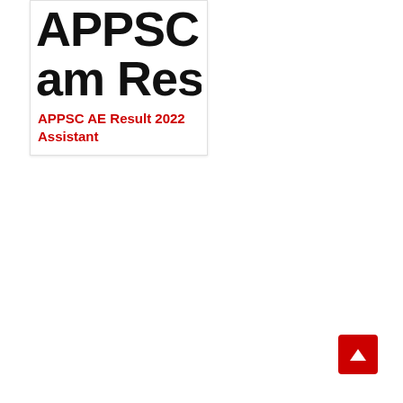[Figure (screenshot): Card image showing large bold black text 'APPSC A' cropped at top line and 'am Resu' on second line, partially visible]
APPSC AE Result 2022 Assistant
[Figure (other): Red scroll-to-top button with upward arrow in bottom right corner]